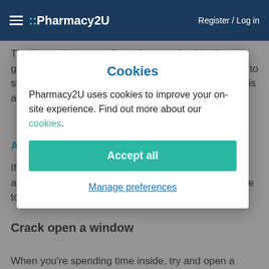Pharmacy2U  Register / Log in
The larger the group of people you mix with, the greater the risk of spreading coronavirus. Make sure to stick to government guidelines and remember that 6 is a maximum n
A
If e h t s playing host and serving. It's a good idea to also have hand sanitiser on the table too for everyone to use.
Crack open a window
When you're spending time inside, try and open a window as
Cookies
Pharmacy2U uses cookies to improve your on-site experience. Find out more about our cookies.
Accept all
Manage preferences